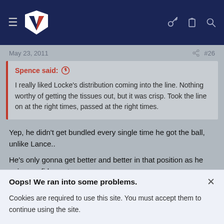NZ rugby forum navigation bar with hamburger menu, NZ logo, key icon, clipboard icon, search icon
May 23, 2011   #26
Spence said: ↑

I really liked Locke's distribution coming into the line. Nothing worthy of getting the tissues out, but it was crisp. Took the line on at the right times, passed at the right times.
Yep, he didn't get bundled every single time he got the ball, unlike Lance..
He's only gonna get better and better in that position as he gains confidence too.
Oops! We ran into some problems.

Cookies are required to use this site. You must accept them to continue using the site.